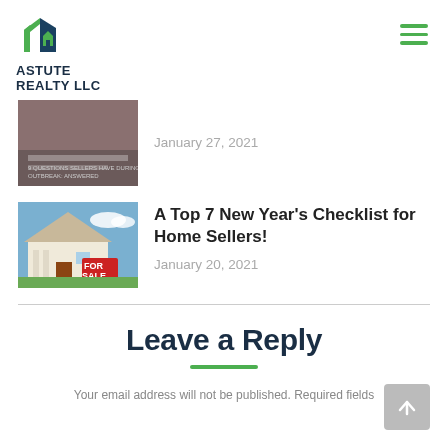ASTUTE REALTY LLC
[Figure (photo): Thumbnail image for coronavirus sellers article]
January 27, 2021
[Figure (photo): House with For Sale sign in front yard]
A Top 7 New Year’s Checklist for Home Sellers!
January 20, 2021
Leave a Reply
Your email address will not be published. Required fields